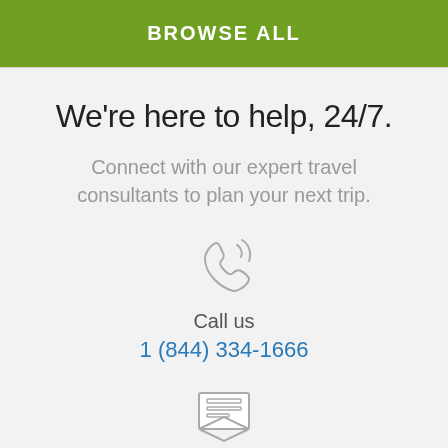BROWSE ALL
We're here to help, 24/7.
Connect with our expert travel consultants to plan your next trip.
[Figure (illustration): Phone handset with signal/ringing waves icon]
Call us
1 (844) 334-1666
[Figure (illustration): Envelope with letter/email icon]